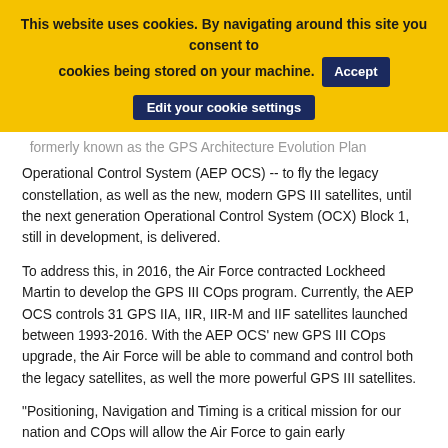This website uses cookies. By navigating around this site you consent to cookies being stored on your machine. [Accept] [Edit your cookie settings]
formerly known as the GPS Architecture Evolution Plan Operational Control System (AEP OCS) -- to fly the legacy constellation, as well as the new, modern GPS III satellites, until the next generation Operational Control System (OCX) Block 1, still in development, is delivered.
To address this, in 2016, the Air Force contracted Lockheed Martin to develop the GPS III COps program. Currently, the AEP OCS controls 31 GPS IIA, IIR, IIR-M and IIF satellites launched between 1993-2016. With the AEP OCS' new GPS III COps upgrade, the Air Force will be able to command and control both the legacy satellites, as well the more powerful GPS III satellites.
"Positioning, Navigation and Timing is a critical mission for our nation and COps will allow the Air Force to gain early